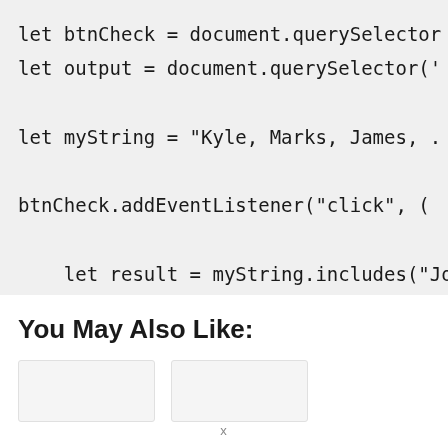let btnCheck = document.querySelector(
let output = document.querySelector('

let myString = "Kyle, Marks, James, .

btnCheck.addEventListener("click", (

    let result = myString.includes("Joh
    output.innerText = result;

});
You May Also Like: